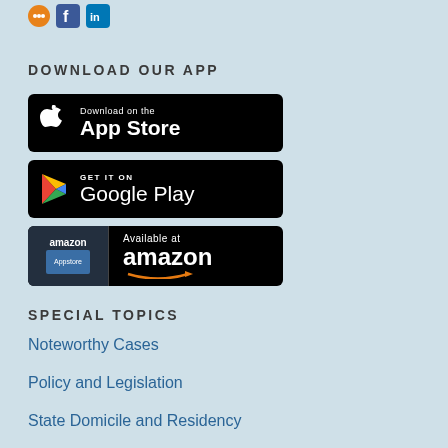[Figure (logo): Social media icons row: orange RSS/podcast icon, blue Facebook icon, blue LinkedIn icon]
DOWNLOAD OUR APP
[Figure (other): Download on the App Store button - black background with Apple logo]
[Figure (other): Get it on Google Play button - black background with Play Store triangle logo]
[Figure (other): Available at Amazon Appstore button - black background with Amazon logo and arrow]
SPECIAL TOPICS
Noteworthy Cases
Policy and Legislation
State Domicile and Residency